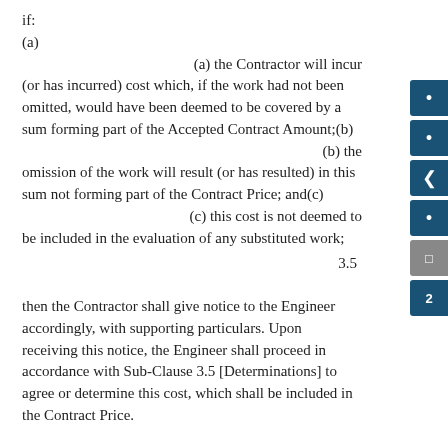if:
(a)
(a) the Contractor will incur (or has incurred) cost which, if the work had not been omitted, would have been deemed to be covered by a sum forming part of the Accepted Contract Amount;(b)
(b) the omission of the work will result (or has resulted) in this sum not forming part of the Contract Price; and(c)
(c) this cost is not deemed to be included in the evaluation of any substituted work;
3.5
then the Contractor shall give notice to the Engineer accordingly, with supporting particulars. Upon receiving this notice, the Engineer shall proceed in accordance with Sub-Clause 3.5 [Determinations] to agree or determine this cost, which shall be included in the Contract Price.